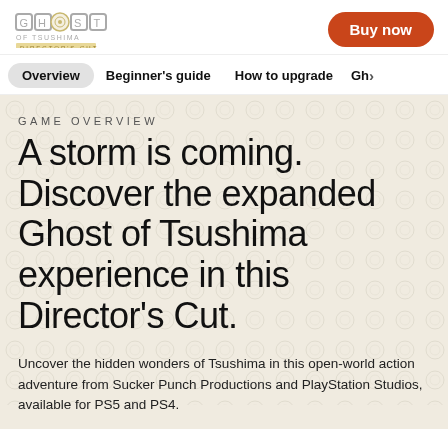[Figure (logo): Ghost of Tsushima Director's Cut logo — stylized text GHOST with circle icon, OF TSUSHIMA subtitle, DIRECTOR'S CUT label on gold/tan banner]
Buy now
Overview | Beginner's guide | How to upgrade | Gh›
GAME OVERVIEW
A storm is coming. Discover the expanded Ghost of Tsushima experience in this Director's Cut.
Uncover the hidden wonders of Tsushima in this open-world action adventure from Sucker Punch Productions and PlayStation Studios, available for PS5 and PS4.